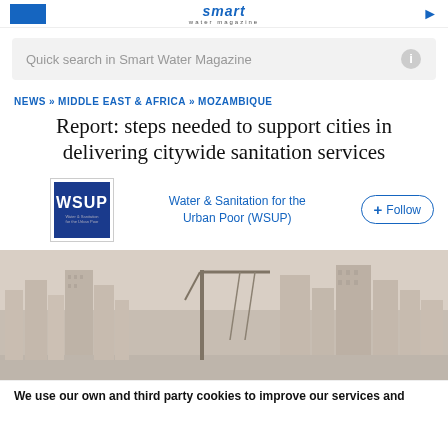smart water magazine
Quick search in Smart Water Magazine
NEWS » MIDDLE EAST & AFRICA » MOZAMBIQUE
Report: steps needed to support cities in delivering citywide sanitation services
Water & Sanitation for the Urban Poor (WSUP)
[Figure (logo): WSUP logo — blue square with WSUP wordmark and tagline]
[Figure (photo): City skyline of Maputo, Mozambique with buildings and a crane against a hazy sky]
We use our own and third party cookies to improve our services and